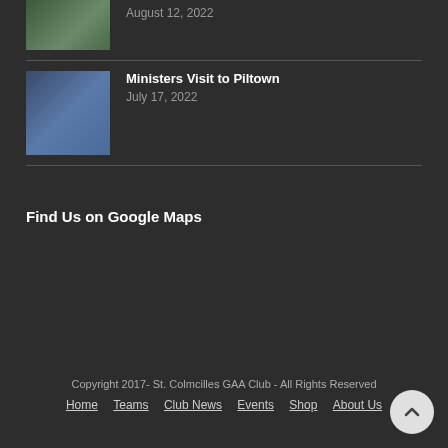[Figure (photo): Sports team photo thumbnail at top]
August 12, 2022
[Figure (photo): Group photo of ministers visiting Piltown]
Ministers Visit to Piltown
July 17, 2022
Find Us on Google Maps
Copyright 2017- St. Colmcilles GAA Club - All Rights Reserved
Home  Teams  Club News  Events  Shop  About Us